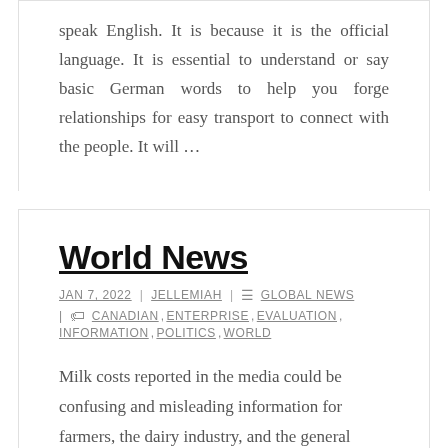speak English. It is because it is the official language. It is essential to understand or say basic German words to help you forge relationships for easy transport to connect with the people. It will …
World News
JAN 7, 2022 | JELLEMIAH | GLOBAL NEWS | CANADIAN, ENTERPRISE, EVALUATION, INFORMATION, POLITICS, WORLD
Milk costs reported in the media could be confusing and misleading information for farmers, the dairy industry, and the general public. In India, pressured prostitution is tolerated, sometimes even thought-